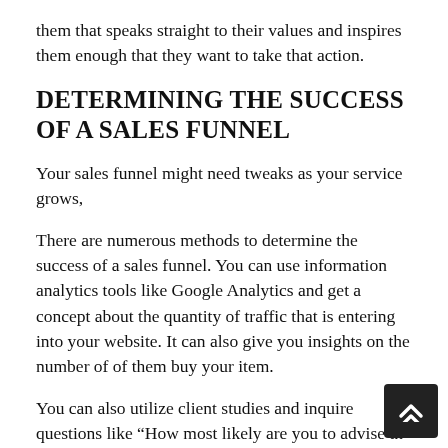them that speaks straight to their values and inspires them enough that they want to take that action.
DETERMINING THE SUCCESS OF A SALES FUNNEL
Your sales funnel might need tweaks as your service grows,
There are numerous methods to determine the success of a sales funnel. You can use information analytics tools like Google Analytics and get a concept about the quantity of traffic that is entering into your website. It can also give you insights on the number of of them buy your item.
You can also utilize client studies and inquire questions like “How most likely are you to advise th product/business to a friend?” or “What did you lik